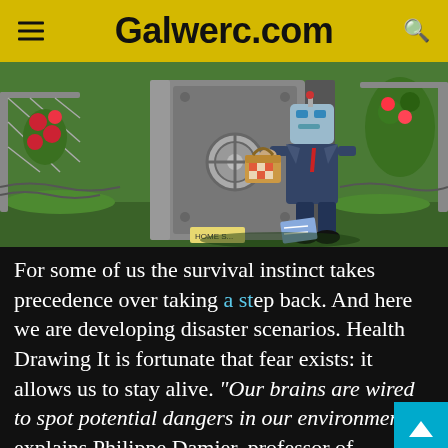Galwerc.com
[Figure (illustration): Cartoon illustration of a robot-headed figure in a suit carrying a picnic basket, exiting a large metal bank vault door, surrounded by green grass, roses, and barbed wire fencing.]
For some of us the survival instinct takes precedence over taking a step back. And here we are developing disaster scenarios. Health Drawing It is fortunate that fear exists: it allows us to stay alive. “Our brains are wired to spot potential dangers in our environment, explains Philippe Damier, professor of neurology at Nantes University Hospital and author of Decide with full knowledge yourself (Odile Jacob). In the event of a threat, the